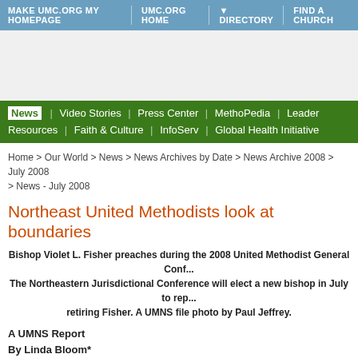MAKE UMC.ORG MY HOMEPAGE | UMC.ORG HOME | DIRECTORY | FIND A CHURCH
[Figure (other): Advertisement banner area]
News | Video Stories | Press Center | MethoPedia | Leader Resources | Faith & Culture | InfoServ | Global Health Initiative
Home > Our World > News > News Archives by Date > News Archive 2008 > July 2008 > News - July 2008
Northeast United Methodists look at boundaries
Bishop Violet L. Fisher preaches during the 2008 United Methodist General Conf... The Northeastern Jurisdictional Conference will elect a new bishop in July to rep... retiring Fisher. A UMNS file photo by Paul Jeffrey.
A UMNS Report
By Linda Bloom*
July 9, 2008
United Methodists in the denomination's Northeastern Jurisdiction will vote on proposed changes in episcopal area boundaries during their July 13-18 conference in Harrisburg, Pa.